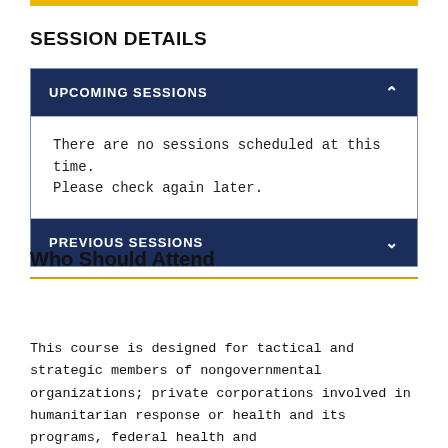SESSION DETAILS
UPCOMING SESSIONS
There are no sessions scheduled at this time. Please check again later.
PREVIOUS SESSIONS
Who Should Attend
This course is designed for tactical and strategic members of nongovernmental organizations; private corporations involved in humanitarian response or health and its programs, federal health and...